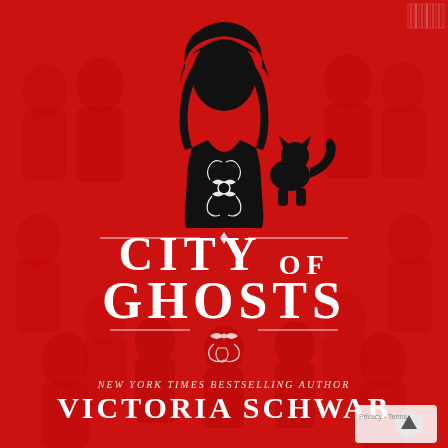[Figure (illustration): Book cover for 'City of Ghosts' by Victoria Schwab. Bright red background with faint silhouettes of ghost-like figures. Center features a black silhouette of a girl with dark hair (no face shown) wearing a black top with decorative white scroll design, and a black cat silhouette to her right. Large white serif text reads 'CITY OF GHOSTS' with decorative scroll flourishes. Smaller italic text above reads 'NEW YORK TIMES BESTSELLING AUTHOR' and large white serif text below reads 'VICTORIA SCHWAB'.]